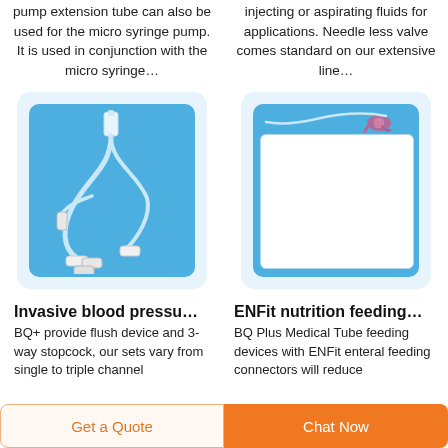pump extension tube can also be used for the micro syringe pump. It is used in conjunction with the micro syringe…
injecting or aspirating fluids for applications. Needle less valve comes standard on our extensive line…
[Figure (photo): IV tubing set with multiple connectors and stopcocks on blue background]
[Figure (photo): ENFit feeding tube connector on blue background with white panel area]
Invasive blood pressu…
ENFit nutrition feeding…
BQ+ provide flush device and 3-way stopcock, our sets vary from single to triple channel
BQ Plus Medical Tube feeding devices with ENFit enteral feeding connectors will reduce
Get a Quote
Chat Now